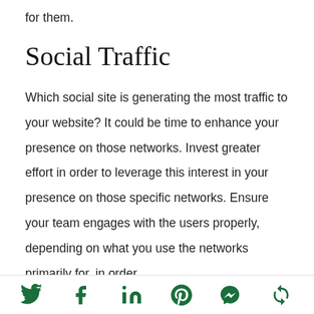for them.
Social Traffic
Which social site is generating the most traffic to your website? It could be time to enhance your presence on those networks. Invest greater effort in order to leverage this interest in your presence on those specific networks. Ensure your team engages with the users properly, depending on what you use the networks primarily for, in order
Social share icons: Twitter, Facebook, LinkedIn, Pinterest, Messenger, Refresh